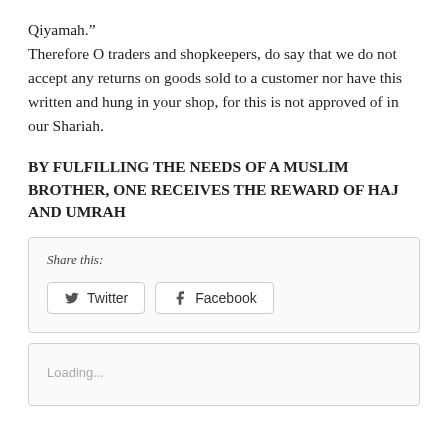Qiyamah."
Therefore O traders and shopkeepers, do say that we do not accept any returns on goods sold to a customer nor have this written and hung in your shop, for this is not approved of in our Shariah.
BY FULFILLING THE NEEDS OF A MUSLIM BROTHER, ONE RECEIVES THE REWARD OF HAJ AND UMRAH
[Figure (screenshot): Share this box with Twitter and Facebook buttons]
[Figure (screenshot): Loading... comment box]